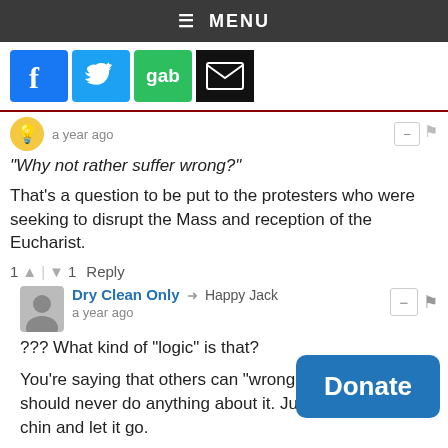≡ MENU
[Figure (screenshot): Social media share icons: Facebook (blue f), Twitter (blue bird), Gab (green), Email (black envelope)]
a year ago
"Why not rather suffer wrong?"
That's a question to be put to the protesters who were seeking to disrupt the Mass and reception of the Eucharist.
1 ▲ | ▼ 1  Reply
Dry Clean Only → Happy Jack
a year ago
??? What kind of "logic" is that?
You're saying that others can "wrong" you and you should never do anything about it. Just take it on the chin and let it go.
If that's the case then what's the rules/laws? Because if we are ne... anything about ...